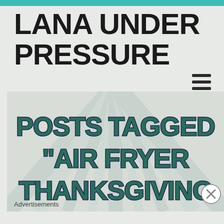LANA UNDER PRESSURE
[Figure (infographic): Sunray / starburst background graphic with radiating light beams in pale teal/grey tones]
POSTS TAGGED "AIR FRYER THANKSGIVING
Advertisements